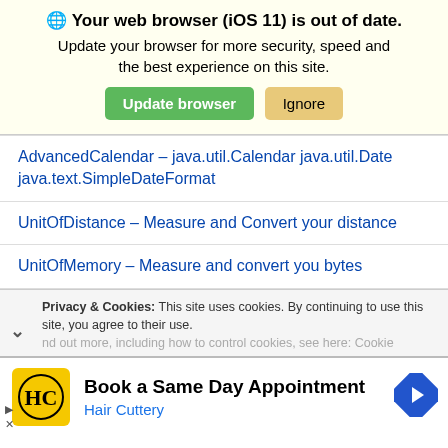🌐 Your web browser (iOS 11) is out of date. Update your browser for more security, speed and the best experience on this site.
Update browser | Ignore
AdvancedCalendar – java.util.Calendar java.util.Date java.text.SimpleDateFormat
UnitOfDistance – Measure and Convert your distance
UnitOfMemory – Measure and convert you bytes
Privacy & Cookies: This site uses cookies. By continuing to use this site, you agree to their use. Find out more, including how to control cookies, see here: Cookie
Book a Same Day Appointment Hair Cuttery